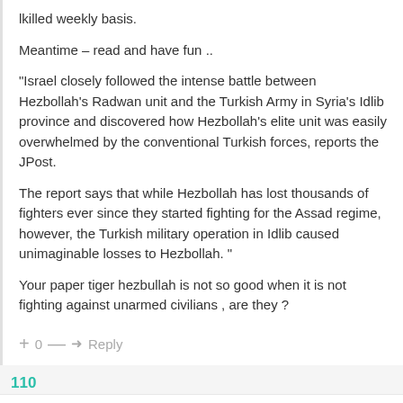lkilled weekly basis.
Meantime – read and have fun ..
"Israel closely followed the intense battle between Hezbollah's Radwan unit and the Turkish Army in Syria's Idlib province and discovered how Hezbollah's elite unit was easily overwhelmed by the conventional Turkish forces, reports the JPost.
The report says that while Hezbollah has lost thousands of fighters ever since they started fighting for the Assad regime, however, the Turkish military operation in Idlib caused unimaginable losses to Hezbollah. "
Your paper tiger hezbullah is not so good when it is not fighting against unarmed civilians , are they ?
+ 0 — → Reply
110
Ahson  Reply to Luna  1 year ago